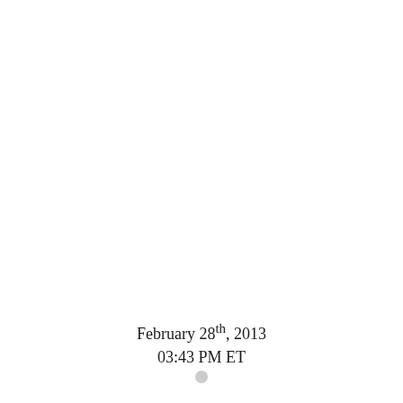February 28th, 2013
03:43 PM ET